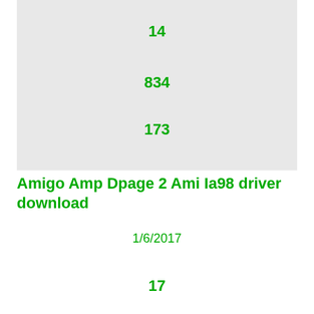[Figure (other): Gray background box containing three green numbers: 14, 834, 173]
Amigo Amp Dpage 2 Ami Ia98 driver download
1/6/2017
17